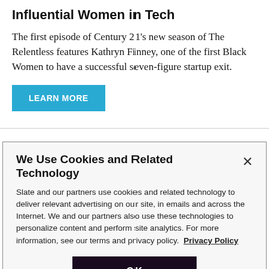Influential Women in Tech
The first episode of Century 21's new season of The Relentless features Kathryn Finney, one of the first Black Women to have a successful seven-figure startup exit.
LEARN MORE
We Use Cookies and Related Technology
Slate and our partners use cookies and related technology to deliver relevant advertising on our site, in emails and across the Internet. We and our partners also use these technologies to personalize content and perform site analytics. For more information, see our terms and privacy policy. Privacy Policy
OK